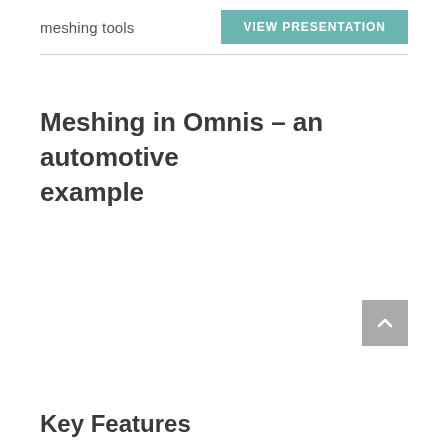meshing tools
VIEW PRESENTATION
Meshing in Omnis – an automotive example
Key Features